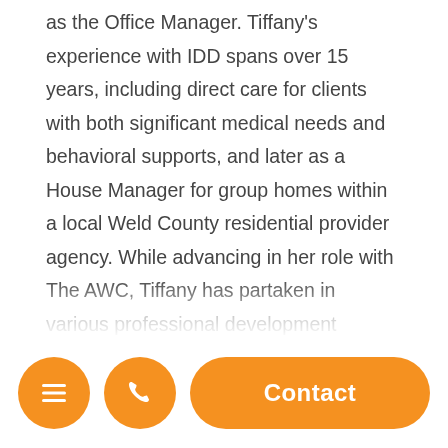as the Office Manager. Tiffany's experience with IDD spans over 15 years, including direct care for clients with both significant medical needs and behavioral supports, and later as a House Manager for group homes within a local Weld County residential provider agency. While advancing in her role with The AWC, Tiffany has partaken in various professional development opportunities for supervisors and project management. She has attended classes such as Managing Multiple Priorities, Project and Resilience... experiences for... Keeping for HR. She also completed